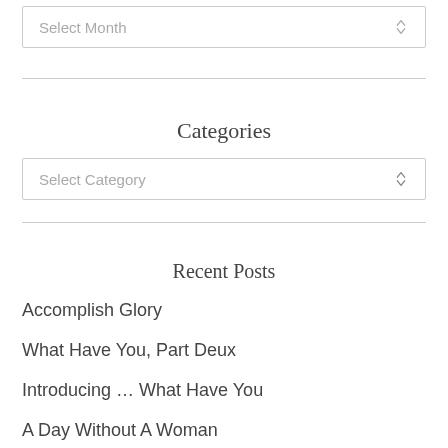[Figure (other): Dropdown select box labeled 'Select Month' with up/down chevron arrow]
Categories
[Figure (other): Dropdown select box labeled 'Select Category' with up/down chevron arrow]
Recent Posts
Accomplish Glory
What Have You, Part Deux
Introducing … What Have You
A Day Without A Woman